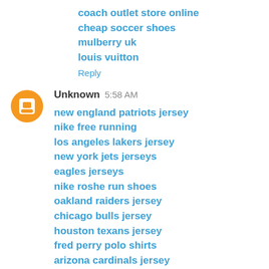coach outlet store online
cheap soccer shoes
mulberry uk
louis vuitton
Reply
Unknown  5:58 AM
new england patriots jersey
nike free running
los angeles lakers jersey
new york jets jerseys
eagles jerseys
nike roshe run shoes
oakland raiders jersey
chicago bulls jersey
houston texans jersey
fred perry polo shirts
arizona cardinals jersey
nike trainers uk
mizuno running shoes